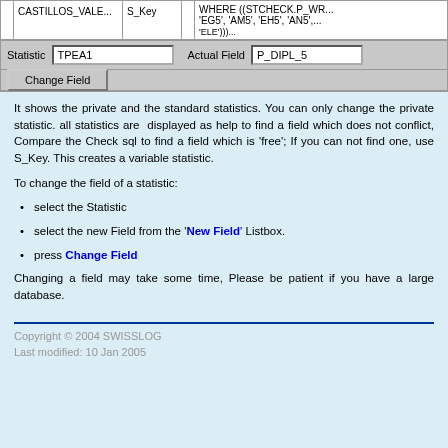[Figure (screenshot): Software UI screenshot showing a database statistic field editor with rows containing CASTILLOS_VALE..., S_Key, and a WHERE clause SQL snippet, plus Statistic field showing TPEA1, Actual Field showing P_DIPL_5, and a Change Field button]
It shows the private and the standard statistics. You can only change the private statistic. all statistics are displayed as help to find a field which does not conflict, Compare the Check sql to find a field which is 'free'; If you can not find one, use S_Key. This creates a variable statistic.
To change the field of a statistic:
select the Statistic
select the new Field from the 'New Field' Listbox.
press Change Field
Changing a field may take some time, Please be patient if you have a large database.
Copyright © 2004 SWISSLOG
Last modified: 10 Jan 2005